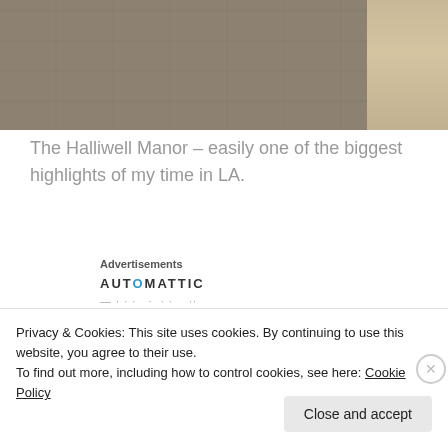[Figure (photo): Photo of a stone wall/Halliwell Manor exterior with stone steps visible on the right side]
The Halliwell Manor – easily one of the biggest highlights of my time in LA.
Advertisements
[Figure (logo): Automattic logo with blue circle-O]
* * *
Privacy & Cookies: This site uses cookies. By continuing to use this website, you agree to their use.
To find out more, including how to control cookies, see here: Cookie Policy
Close and accept